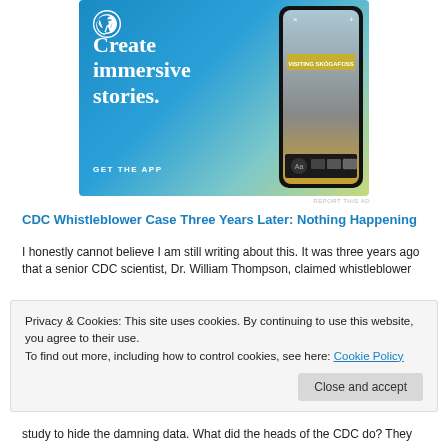[Figure (illustration): WordPress advertisement banner showing 'Create immersive stories. GET THE APP' with a phone mockup showing a blog post about visiting Skogafoss waterfall. Blue-to-green gradient background with WordPress logo.]
REPORT THIS AD
CDC Whistleblower Case Three Years Later: Nothing Happening
I honestly cannot believe I am still writing about this. It was three years ago that a senior CDC scientist, Dr. William Thompson, claimed whistleblower
Privacy & Cookies: This site uses cookies. By continuing to use this website, you agree to their use.
To find out more, including how to control cookies, see here: Cookie Policy
study to hide the damning data. What did the heads of the CDC do? They